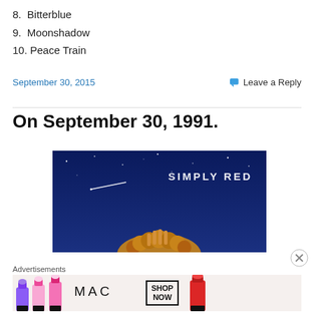8. Bitterblue
9. Moonshadow
10. Peace Train
September 30, 2015
Leave a Reply
On September 30, 1991.
[Figure (photo): Album cover for Simply Red showing text 'SIMPLY RED' over a dark blue night sky with stars, and a person's head with curly hair visible at the bottom]
Advertisements
[Figure (photo): MAC Cosmetics advertisement banner showing colorful lipsticks on the left, MAC logo in the center, a SHOP NOW box, and a red lipstick on the right]